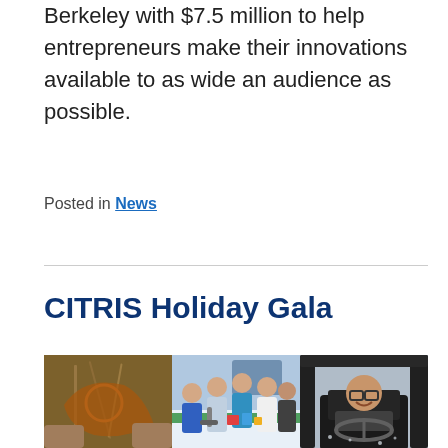Berkeley with $7.5 million to help entrepreneurs make their innovations available to as wide an audience as possible.
Posted in News
CITRIS Holiday Gala
[Figure (photo): Three-panel photo strip showing: left panel - hands holding a drone/robotic device with wires and orange frame; center panel - group of people (researchers or students) gathered around a table with robotics equipment; right panel - person sitting in a vehicle simulator or cockpit smiling at camera.]